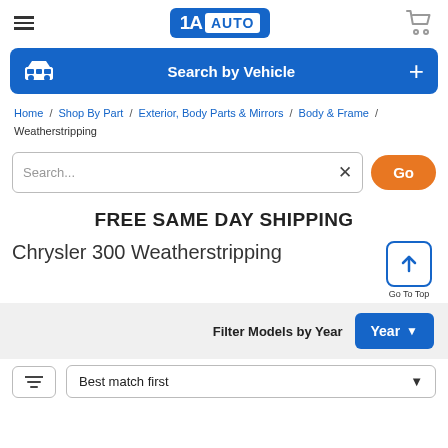1A AUTO — navigation header with logo and cart
[Figure (screenshot): 1A Auto logo: blue rounded rectangle with '1A' and 'AUTO' text]
Search by Vehicle +
Home / Shop By Part / Exterior, Body Parts & Mirrors / Body & Frame / Weatherstripping
Search... Go
FREE SAME DAY SHIPPING
Chrysler 300 Weatherstripping
Filter Models by Year  Year ▼
Best match first ▼